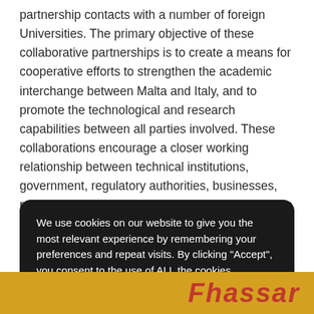partnership contacts with a number of foreign Universities. The primary objective of these collaborative partnerships is to create a means for cooperative efforts to strengthen the academic interchange between Malta and Italy, and to promote the technological and research capabilities between all parties involved. These collaborations encourage a closer working relationship between technical institutions, government, regulatory authorities, businesses, research, education and other organizations in the technology sector.
We use cookies on our website to give you the most relevant experience by remembering your preferences and repeat visits. By clicking "Accept", you consent to the use of ALL the cookies.
[Figure (screenshot): Bottom portion of a webpage showing a golden/yellow background with red italic bold text reading 'Fhassar' (partially visible)]